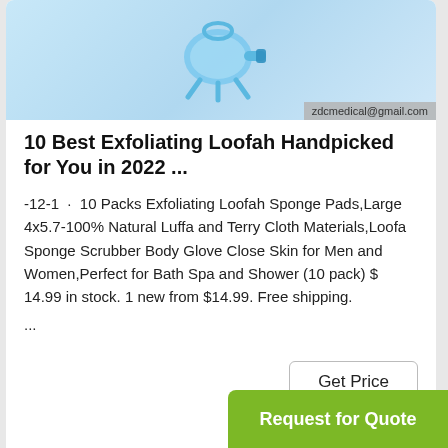[Figure (photo): Product image of exfoliating loofah with watermark 'zdcmedical@gmail.com' on a light blue background]
10 Best Exfoliating Loofah Handpicked for You in 2022 ...
-12-1 · 10 Packs Exfoliating Loofah Sponge Pads,Large 4x5.7-100% Natural Luffa and Terry Cloth Materials,Loofa Sponge Scrubber Body Glove Close Skin for Men and Women,Perfect for Bath Spa and Shower (10 pack) $ 14.99 in stock. 1 new from $14.99. Free shipping.
...
Get Price
[Figure (screenshot): Bottom portion of a second product card partially visible]
Request for Quote